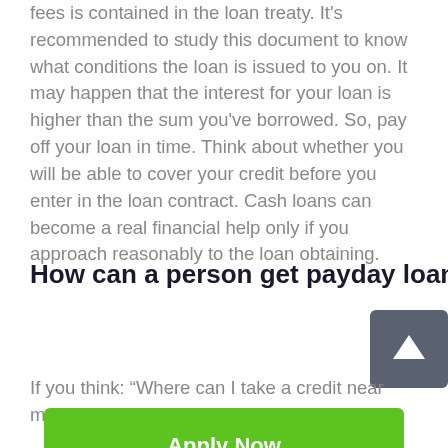fees is contained in the loan treaty. It's recommended to study this document to know what conditions the loan is issued to you on. It may happen that the interest for your loan is higher than the sum you've borrowed. So, pay off your loan in time. Think about whether you will be able to cover your credit before you enter in the loan contract. Cash loans can become a real financial help only if you approach reasonably to the loan obtaining.
How can a person get payday loans Picher no credit check?
If you think: “Where can I take a credit near me?” – the
[Figure (other): Green 'Apply Now' button]
Applying does NOT affect your credit score!
No credit check to apply.